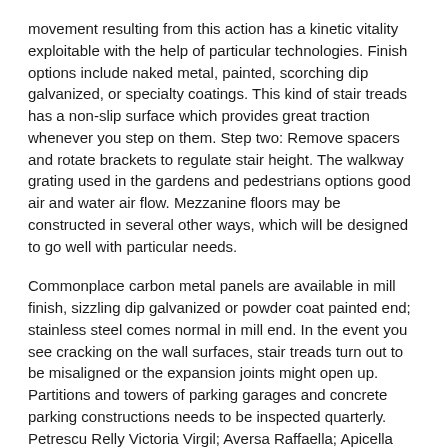movement resulting from this action has a kinetic vitality exploitable with the help of particular technologies. Finish options include naked metal, painted, scorching dip galvanized, or specialty coatings. This kind of stair treads has a non-slip surface which provides great traction whenever you step on them. Step two: Remove spacers and rotate brackets to regulate stair height. The walkway grating used in the gardens and pedestrians options good air and water air flow. Mezzanine floors may be constructed in several other ways, which will be designed to go well with particular needs.
Commonplace carbon metal panels are available in mill finish, sizzling dip galvanized or powder coat painted end; stainless steel comes normal in mill end. In the event you see cracking on the wall surfaces, stair treads turn out to be misaligned or the expansion joints might open up. Partitions and towers of parking garages and concrete parking constructions needs to be inspected quarterly. Petrescu Relly Victoria Virgil; Aversa Raffaella; Apicella Antonio; Petrescu Florian Ion Tiberiu; 2017 Transportation Engineering, American Journal of Engineering and Applied Sciences, 10(3):685-702.
Metal bar grating has so many applications. Vinyl ester is the quickest rising resin in Fiber Reinforced Polymer Rebars Market owing to its numerous substantial properties including exceptional corrosion resistance to chemicals, fuels, or vapors, warmth insulation, durability,